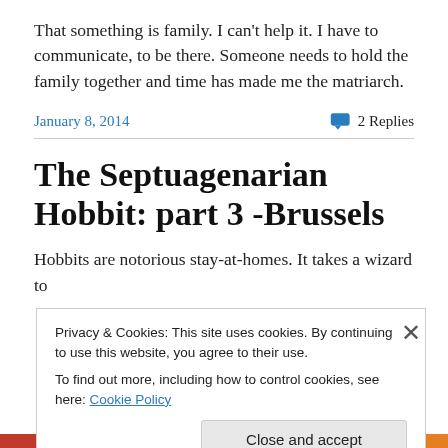That something is family. I can't help it. I have to communicate, to be there. Someone needs to hold the family together and time has made me the matriarch.
January 8, 2014    💬 2 Replies
The Septuagenarian Hobbit: part 3 -Brussels
Hobbits are notorious stay-at-homes. It takes a wizard to
Privacy & Cookies: This site uses cookies. By continuing to use this website, you agree to their use.
To find out more, including how to control cookies, see here: Cookie Policy
Close and accept